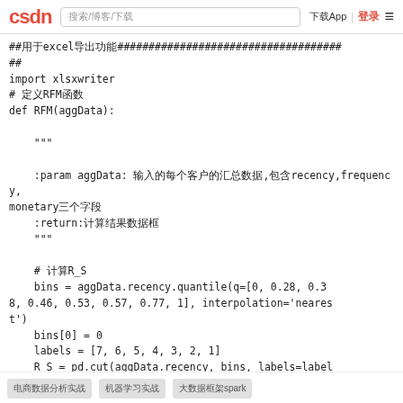CSDN | 搜索/博客/下载 | 下载App | 登录 ≡
##用于excel导出功能####################################
##
import xlsxwriter
# 定义RFM函数
def RFM(aggData):

    """

    :param aggData: 输入的每个客户的汇总数据,包含recency,frequency,monetary三个字段
    :return:计算结果数据框
    """

    # 计算R_S
    bins = aggData.recency.quantile(q=[0, 0.28, 0.38, 0.46, 0.53, 0.57, 0.77, 1], interpolation='nearest')
    bins[0] = 0
    labels = [7, 6, 5, 4, 3, 2, 1]
    R_S = pd.cut(aggData.recency, bins, labels=label
电商数据分析实战 | 机器学习实战 | 大数据框架spark